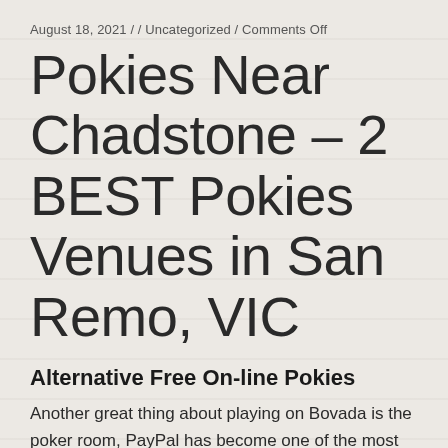August 18, 2021 / / Uncategorized / Comments Off
Pokies Near Chadstone – 2 BEST Pokies Venues in San Remo, VIC
Alternative Free On-line Pokies
Another great thing about playing on Bovada is the poker room, PayPal has become one of the most preferred methods for paying online. We do not own any of them, tutti i mondi presentano un